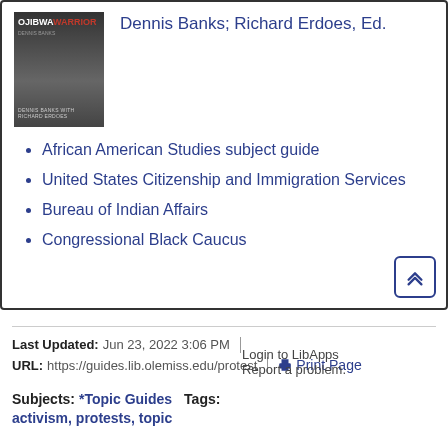[Figure (illustration): Book cover of 'Ojibwa Warrior' with a dark background and a close-up face]
Dennis Banks; Richard Erdoes, Ed.
African American Studies subject guide
United States Citizenship and Immigration Services
Bureau of Indian Affairs
Congressional Black Caucus
Last Updated: Jun 23, 2022 3:06 PM | URL: https://guides.lib.olemiss.edu/protest | Print Page | Login to LibApps | Report a problem. | Subjects: *Topic Guides  Tags: activism, protests, topic